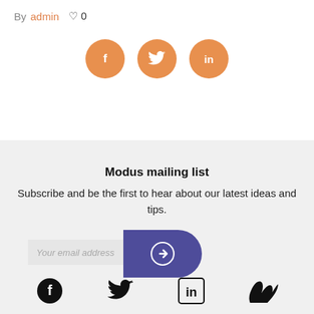By admin ♡ 0
[Figure (infographic): Three orange circular social media share buttons: Facebook (f), Twitter (bird), LinkedIn (in)]
Modus mailing list
Subscribe and be the first to hear about our latest ideas and tips.
Your email address
[Figure (other): Purple rounded submit button with right-arrow icon]
[Figure (infographic): Four black social media icons at bottom: Facebook, Twitter, LinkedIn, Vimeo]